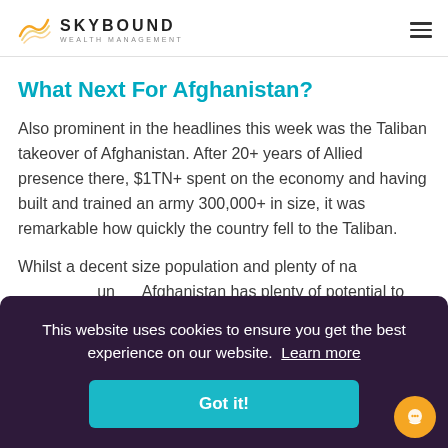SKYBOUND WEALTH MANAGEMENT
What Next For Afghanistan?
Also prominent in the headlines this week was the Taliban takeover of Afghanistan. After 20+ years of Allied presence there, $1TN+ spent on the economy and having built and trained an army 300,000+ in size, it was remarkable how quickly the country fell to the Taliban.
Whilst a decent size population and plenty of natural resources, under Afghanistan has plenty of potential to build its economy. The world will be keen to see what happens next.
This website uses cookies to ensure you get the best experience on our website. Learn more